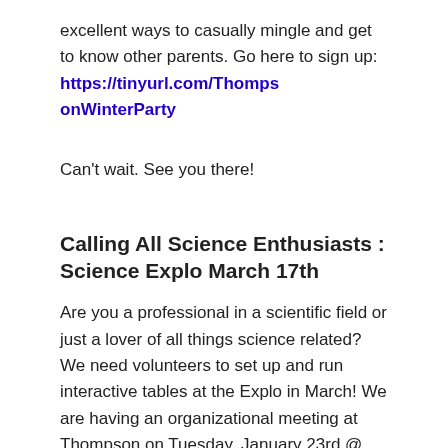excellent ways to casually mingle and get to know other parents. Go here to sign up: https://tinyurl.com/ThompsonWinterParty
Can't wait. See you there!
Calling All Science Enthusiasts : Science Explo March 17th
Are you a professional in a scientific field or just a lover of all things science related? We need volunteers to set up and run interactive tables at the Explo in March! We are having an organizational meeting at Thompson on Tuesday, January 23rd @ 7PM if you are interested in participating.